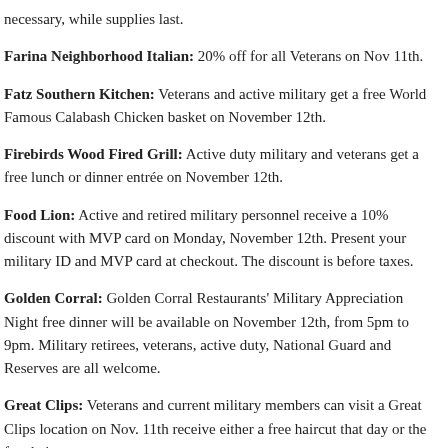necessary, while supplies last.
Farina Neighborhood Italian: 20% off for all Veterans on Nov 11th.
Fatz Southern Kitchen: Veterans and active military get a free World Famous Calabash Chicken basket on November 12th.
Firebirds Wood Fired Grill: Active duty military and veterans get a free lunch or dinner entrée on November 12th.
Food Lion: Active and retired military personnel receive a 10% discount with MVP card on Monday, November 12th. Present your military ID and MVP card at checkout. The discount is before taxes.
Golden Corral: Golden Corral Restaurants' Military Appreciation Night free dinner will be available on November 12th, from 5pm to 9pm. Military retirees, veterans, active duty, National Guard and Reserves are all welcome.
Great Clips: Veterans and current military members can visit a Great Clips location on Nov. 11th receive either a free haircut that day or the free haircut